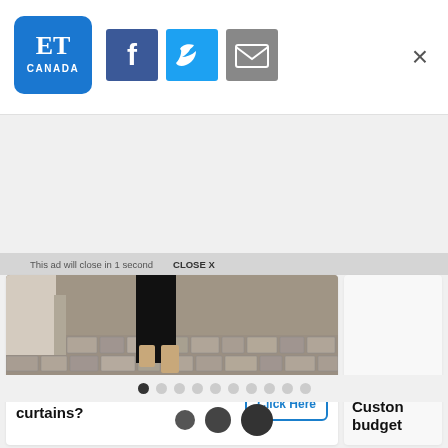[Figure (logo): ET Canada logo — blue rounded square with 'ET' in white serif and 'CANADA' below]
[Figure (logo): Facebook share button — dark blue square with white 'f']
[Figure (logo): Twitter share button — light blue square with white bird icon]
[Figure (logo): Email share button — gray square with white envelope icon]
×
This ad will close in 1 second    CLOSE X
[Figure (photo): Photo of legs walking on cobblestone pavement, wearing black trousers and tan/brown shoes]
Where to get the best curtains?
Click Here
Custon budget